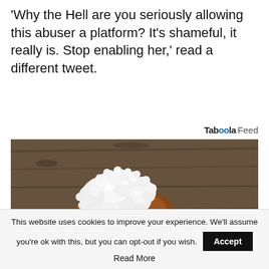'Why the Hell are you seriously allowing this abuser a platform? It's shameful, it really is. Stop enabling her,' read a different tweet.
Taboola Feed
[Figure (photo): A wooden spoon holding white kefir grains on a rustic wooden background]
This website uses cookies to improve your experience. We'll assume you're ok with this, but you can opt-out if you wish. Accept Read More